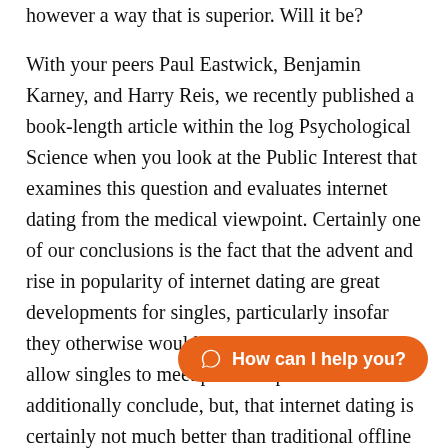however a way that is superior. Will it be?
With your peers Paul Eastwick, Benjamin Karney, and Harry Reis, we recently published a book-length article within the log Psychological Science when you look at the Public Interest that examines this question and evaluates internet dating from the medical viewpoint. Certainly one of our conclusions is the fact that the advent and rise in popularity of internet dating are great developments for singles, particularly insofar they otherwise wouldnвЂ™t have met as they allow singles to meet potential partners. We additionally conclude, but, that internet dating is certainly not much better than traditional offline dating in many respects, and that it really is even worse is some respects.
Starting with online dating stigma of dating on line has diminished within the last
[Figure (other): Orange chat button with WhatsApp-style icon reading 'How can I help you?']